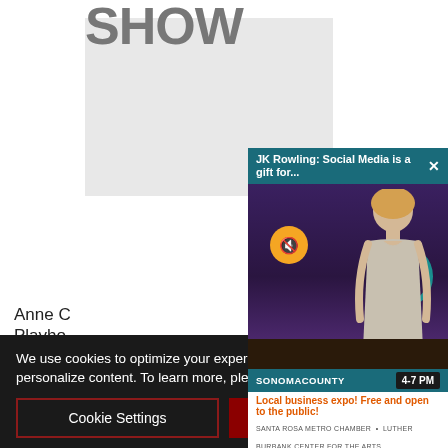[Figure (photo): Gray placeholder image area at top center of page]
[Figure (screenshot): Video popup overlay showing JK Rowling video thumbnail with title 'JK Rowling: Social Media is a gift for...' on teal header bar, woman in silver dress against purple background, mute button, teal circle, Sonoma County banner with 4-7 PM time, local business expo ad]
SHOW
Anne C
Playho
uld
We use cookies to optimize your experience, analyze traffic, and personalize content. To learn more, please visit our Privacy Policy.
Cookie Settings
Accept Cookies